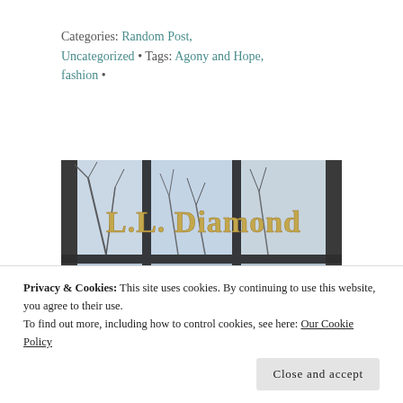Categories: Random Post, Uncategorized • Tags: Agony and Hope, fashion •
[Figure (photo): A photo showing the back of a man's head looking through a window. Overlaid text reads 'L.L. Diamond' in gold serif lettering. Bare winter trees visible through the window glass.]
Privacy & Cookies: This site uses cookies. By continuing to use this website, you agree to their use. To find out more, including how to control cookies, see here: Our Cookie Policy
Close and accept